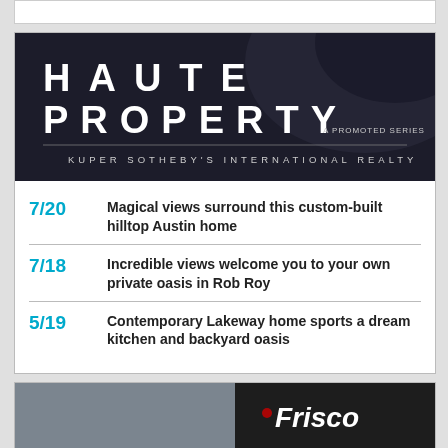[Figure (illustration): Haute Property - A Promoted Series by Kuper Sotheby's International Realty banner with dark background and large stylized text]
7/20 Magical views surround this custom-built hilltop Austin home
7/18 Incredible views welcome you to your own private oasis in Rob Roy
5/19 Contemporary Lakeway home sports a dream kitchen and backyard oasis
[Figure (photo): Frisco - partial view of event or venue with people, Frisco logo text visible on dark background]